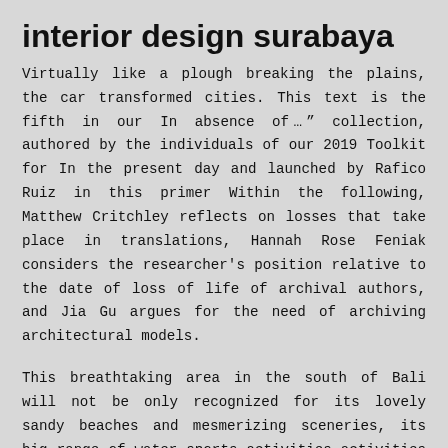interior design surabaya
Virtually like a plough breaking the plains, the car transformed cities. This text is the fifth in our In absence ofâ¦â collection, authored by the individuals of our 2019 Toolkit for In the present day and launched by Rafico Ruiz in this primer Within the following, Matthew Critchley reflects on losses that take place in translations, Hannah Rose Feniak considers the researcher's position relative to the date of loss of life of archival authors, and Jia Gu argues for the need of archiving architectural models.
This breathtaking area in the south of Bali will not be only recognized for its lovely sandy beaches and mesmerizing sceneries, its big range of water sports activities activities will certainly be the highlight of your trip. If this data is stale, the app's repository module begins updating the info in the